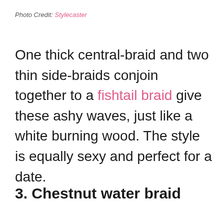Photo Credit: Stylecaster
One thick central-braid and two thin side-braids conjoin together to a fishtail braid give these ashy waves, just like a white burning wood. The style is equally sexy and perfect for a date.
3. Chestnut water braid